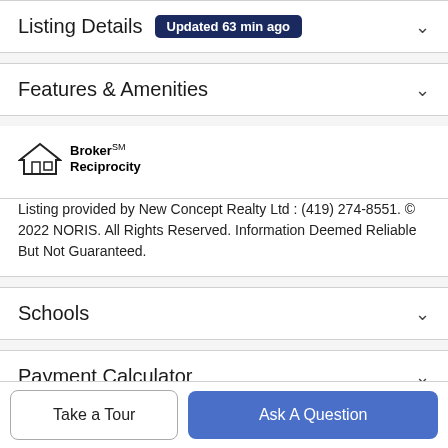Listing Details Updated 63 min ago
Features & Amenities
[Figure (logo): Broker Reciprocity logo with house icon]
Listing provided by New Concept Realty Ltd : (419) 274-8551. © 2022 NORIS. All Rights Reserved. Information Deemed Reliable But Not Guaranteed.
Schools
Payment Calculator
Contact Agent
Take a Tour
Ask A Question